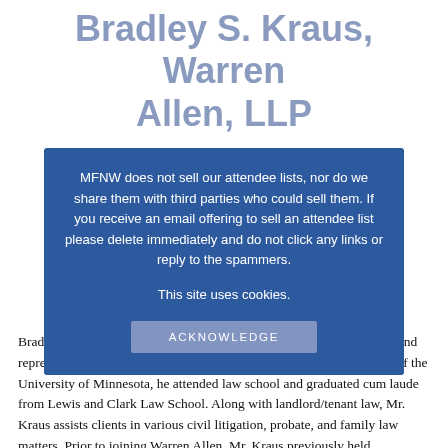Bradley S. Kraus, Warren Allen, LLP
[Figure (other): Cookie/spam notice overlay banner with blue background containing warning text about attendee lists and cookie notice, with ACKNOWLEDGE button. Behind it is partially visible portrait photo of a man in a suit with red tie.]
Bradley Kraus is a member of Warren Allen's landlord/tenant practice and represents many of the region's most successful landlords. A graduate of the University of Minnesota, he attended law school and graduated cum laude from Lewis and Clark Law School. Along with landlord/tenant law, Mr. Kraus assists clients in various civil litigation, probate, and family law matters. Prior to joining Warren Allen, Mr. Kraus previously held a